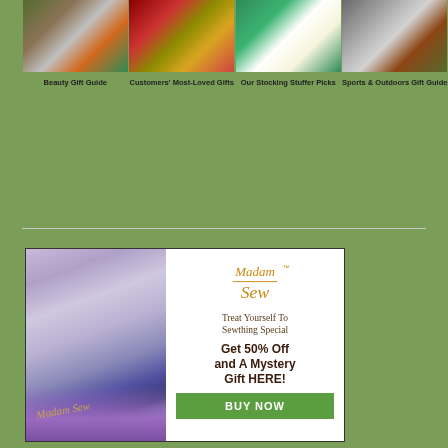[Figure (photo): Four holiday gift guide category images in a horizontal row: Beauty Gift Guide, Customers' Most-Loved Gifts, Our Stocking Stuffer Picks, Sports & Outdoors Gift Guide]
Beauty Gift Guide    Customers' Most-Loved Gifts    Our Stocking Stuffer Picks    Sports & Outdoors Gift Guide
[Figure (photo): Madam Sew advertisement featuring sewing supplies on left photo and promotional text on right: 'Treat Yourself To Sewthing Special Get 50% Off and A Mystery Gift HERE!' with BUY NOW button]